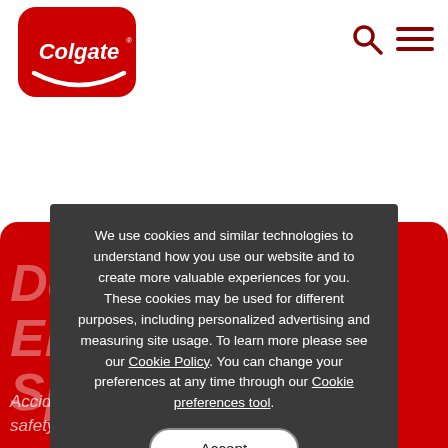[Figure (logo): Colgate logo — red rounded-square background with white Colgate wordmark and smile arc]
[Figure (other): Search icon (magnifying glass) and hamburger menu icon in dark red]
[Figure (other): Red hero banner area partially visible with large italic white text reading 'Dental Emergencies & Sports Safety' and body text 'Accidents happen, so it's important to follow mouth safety recommendations and learn which']
We use cookies and similar technologies to understand how you use our website and to create more valuable experiences for you. These cookies may be used for different purposes, including personalized advertising and measuring site usage. To learn more please see our Cookie Policy. You can change your preferences at any time through our Cookie preferences tool.
Accept